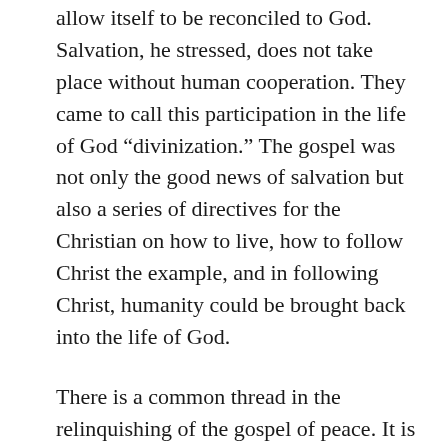allow itself to be reconciled to God. Salvation, he stressed, does not take place without human cooperation. They came to call this participation in the life of God “divinization.” The gospel was not only the good news of salvation but also a series of directives for the Christian on how to live, how to follow Christ the example, and in following Christ, humanity could be brought back into the life of God.
There is a common thread in the relinquishing of the gospel of peace. It is that atonement as a holistic realization of a socio-political-personal new life is missing. Even where, as in the various holiness movements and restoration movements, Jesus is at first recognized as an example to follow, with an